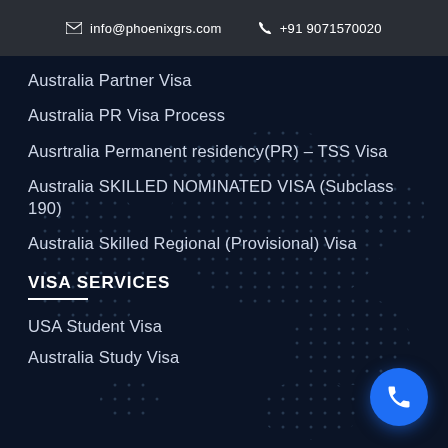info@phoenixgrs.com  +91 9071570020
Australia Partner Visa
Australia PR Visa Process
Ausrtralia Permanent residency(PR) – TSS Visa
Australia SKILLED NOMINATED VISA (Subclass 190)
Australia Skilled Regional (Provisional) Visa
VISA SERVICES
USA Student Visa
Australia Study Visa